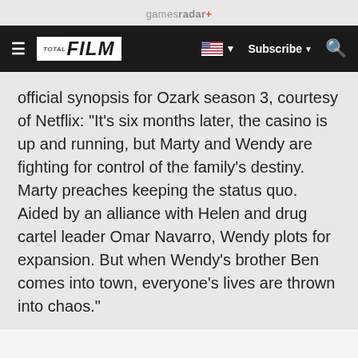gamesradar+
[Figure (logo): Navigation bar with hamburger menu, FILM logo, US flag dropdown, Subscribe button, and search icon]
official synopsis for Ozark season 3, courtesy of Netflix: "It's six months later, the casino is up and running, but Marty and Wendy are fighting for control of the family's destiny. Marty preaches keeping the status quo. Aided by an alliance with Helen and drug cartel leader Omar Navarro, Wendy plots for expansion. But when Wendy's brother Ben comes into town, everyone's lives are thrown into chaos."